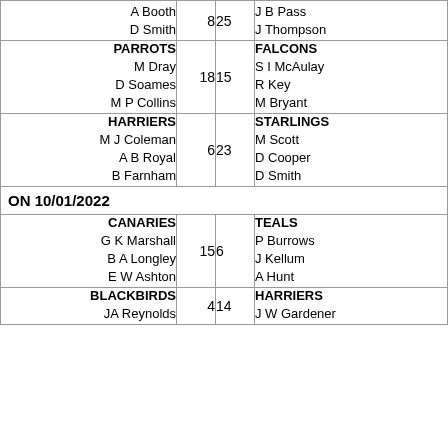| Home Team | Home Score | Away Score | Away Team |
| --- | --- | --- | --- |
| A Booth
D Smith | 8 | 25 | J B Pass
J Thompson |
| PARROTS
M Dray
D Soames
M P Collins | 18 | 15 | FALCONS
S I McAulay
R Key
M Bryant |
| HARRIERS
M J Coleman
A B Royal
B Farnham | 6 | 23 | STARLINGS
M Scott
D Cooper
D Smith |
ON 10/01/2022
| Home Team | Home Score | Away Score | Away Team |
| --- | --- | --- | --- |
| CANARIES
G K Marshall
B A Longley
E W Ashton | 15 | 6 | TEALS
P Burrows
J Kellum
A Hunt |
| BLACKBIRDS
JA Reynolds | 4 | 14 | HARRIERS
J W Gardener |